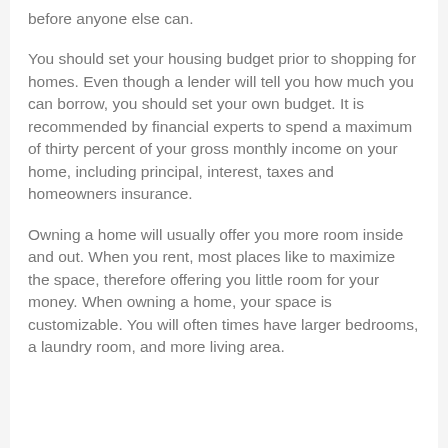before anyone else can.
You should set your housing budget prior to shopping for homes. Even though a lender will tell you how much you can borrow, you should set your own budget. It is recommended by financial experts to spend a maximum of thirty percent of your gross monthly income on your home, including principal, interest, taxes and homeowners insurance.
Owning a home will usually offer you more room inside and out. When you rent, most places like to maximize the space, therefore offering you little room for your money. When owning a home, your space is customizable. You will often times have larger bedrooms, a laundry room, and more living area.